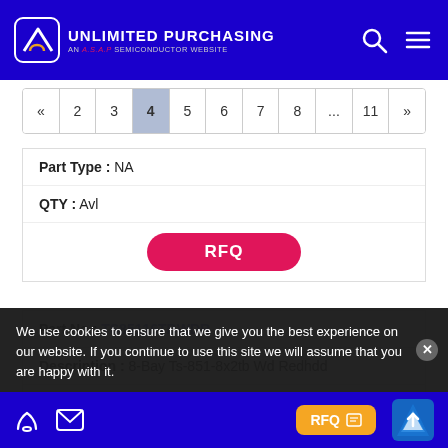UNLIMITED PURCHASING — AN A.S.A.P SEMICONDUCTOR WEBSITE
[Figure (other): Pagination bar showing pages: « 2 3 4 5 6 7 8 ... 11 »]
| Part Type: | NA |
| QTY: | Avl |
| RFQ |
| Part No: | TS85116TBWDR |
| Description: | 8-Bay Ts-851-8x2tb Wd Redhdd |
| Part Type: | NA |
We use cookies to ensure that we give you the best experience on our website. If you continue to use this site we will assume that you are happy with it.
RFQ